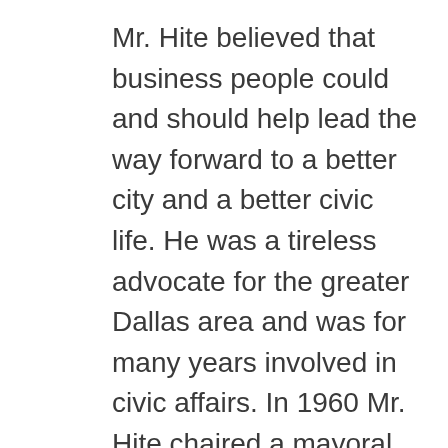Mr. Hite believed that business people could and should help lead the way forward to a better city and a better civic life. He was a tireless advocate for the greater Dallas area and was for many years involved in civic affairs. In 1960 Mr. Hite chaired a mayoral commission called “Goals for Dallas” and many of the projects envisaged then have come to fruition, some financed with funds from two major bond campaigns that he led several years later. The DFW regional airport and the downtown arts district in Dallas were elements of his vision for the